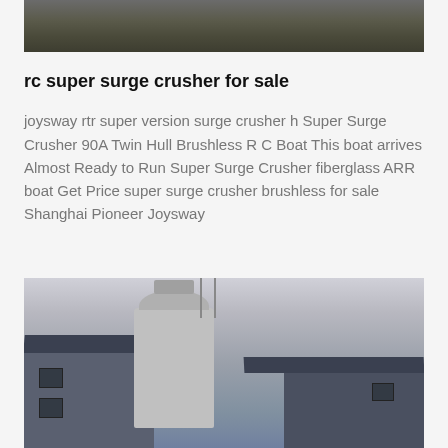[Figure (photo): Top portion of an outdoor scene with dark treeline or landscape, shown as cropped image at top of page]
rc super surge crusher for sale
joysway rtr super version surge crusher h Super Surge Crusher 90A Twin Hull Brushless R C Boat This boat arrives Almost Ready to Run Super Surge Crusher fiberglass ARR boat Get Price super surge crusher brushless for sale Shanghai Pioneer Joysway
[Figure (photo): Industrial building with a large silo/grain elevator structure, metal roofing with dark trim, photographed against an overcast grey sky]